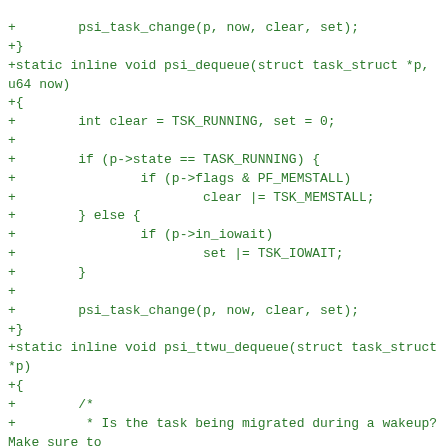+        psi_task_change(p, now, clear, set);
+}
+static inline void psi_dequeue(struct task_struct *p, u64 now)
+{
+        int clear = TSK_RUNNING, set = 0;
+
+        if (p->state == TASK_RUNNING) {
+                if (p->flags & PF_MEMSTALL)
+                        clear |= TSK_MEMSTALL;
+        } else {
+                if (p->in_iowait)
+                        set |= TSK_IOWAIT;
+        }
+
+        psi_task_change(p, now, clear, set);
+}
+static inline void psi_ttwu_dequeue(struct task_struct *p)
+{
+        /*
+         * Is the task being migrated during a wakeup? Make sure to
+         * deregister its sleep-persistent psi states from the old
+         * queue, and let psi_enqueue() know it has to requeue.
+         */
+        if (unlikely(p->in_iowait || (p->flags & PF_MEMSTALL))) {